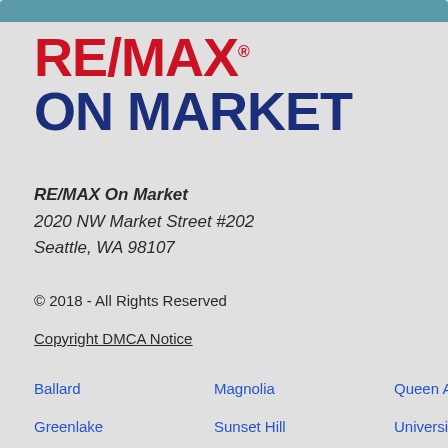[Figure (logo): RE/MAX On Market logo with red RE/MAX text and blue ON MARKET text]
RE/MAX On Market
2020 NW Market Street #202
Seattle, WA 98107
© 2018 - All Rights Reserved
Copyright DMCA Notice
Ballard
Magnolia
Queen Anne
Greenlake
Sunset Hill
University District
Fremont
Bryant
First Hill
West Seattle